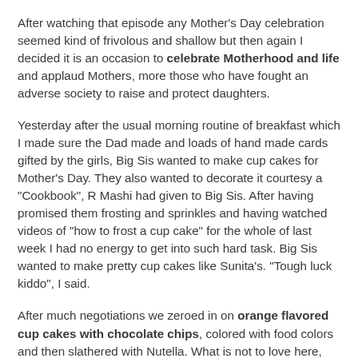After watching that episode any Mother's Day celebration seemed kind of frivolous and shallow but then again I decided it is an occasion to celebrate Motherhood and life and applaud Mothers, more those who have fought an adverse society to raise and protect daughters.
Yesterday after the usual morning routine of breakfast which I made sure the Dad made and loads of hand made cards gifted by the girls, Big Sis wanted to make cup cakes for Mother's Day. They also wanted to decorate it courtesy a "Cookbook", R Mashi had given to Big Sis. After having promised them frosting and sprinkles and having watched videos of "how to frost a cup cake" for the whole of last week I had no energy to get into such hard task. Big Sis wanted to make pretty cup cakes like Sunita's. "Tough luck kiddo", I said.
After much negotiations we zeroed in on orange flavored cup cakes with chocolate chips, colored with food colors and then slathered with Nutella. What is not to love here, tell me.